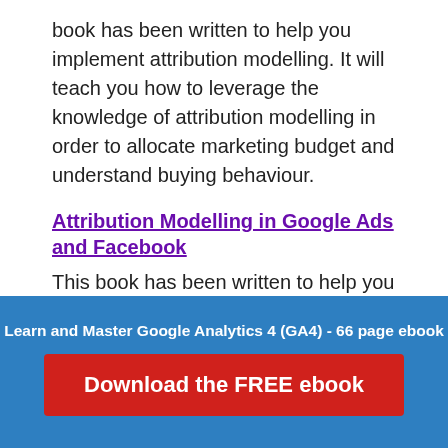book has been written to help you implement attribution modelling. It will teach you how to leverage the knowledge of attribution modelling in order to allocate marketing budget and understand buying behaviour.
Attribution Modelling in Google Ads and Facebook
This book has been written to help you implement attribution modelling in Google Ads (Google AdWords) and Facebook. It will teach you, how to leverage the knowledge of attribution modelling in order to understand the customer purchasing journey and determine the
Learn and Master Google Analytics 4 (GA4) - 66 page ebook
Download the FREE ebook